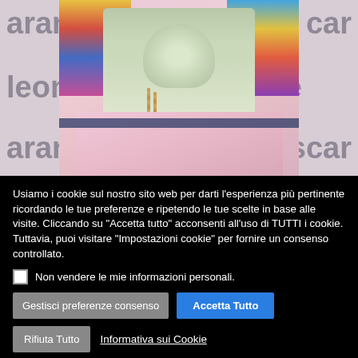[Figure (photo): Partial photo of a person wearing a colorful outfit with a light green/sage sash tied at the waist with a bow, in front of a branded backdrop with repeated text 'aran', 'leon', 'ele', 'scar'. Cookie consent banner overlays the lower portion.]
Usiamo i cookie sul nostro sito web per darti l'esperienza più pertinente ricordando le tue preferenze e ripetendo le tue scelte in base alle visite. Cliccando su "Accetta tutto" acconsenti all'uso di TUTTI i cookie. Tuttavia, puoi visitare "Impostazioni cookie" per fornire un consenso controllato.
Non vendere le mie informazioni personali.
Gestisci preferenze consenso
Accetta Tutto
Rifiuta Tutto
Informativa sui Cookie